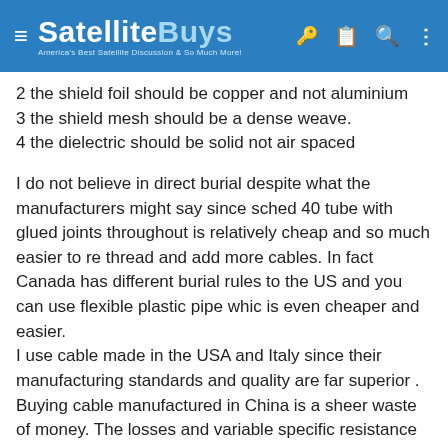SatelliteBuys — America's Best Satellite Discussion & So Much More!
2 the shield foil should be copper and not aluminium
3 the shield mesh should be a dense weave.
4 the dielectric should be solid not air spaced
I do not believe in direct burial despite what the manufacturers might say since sched 40 tube with glued joints throughout is relatively cheap and so much easier to re thread and add more cables. In fact Canada has different burial rules to the US and you can use flexible plastic pipe whic is even cheaper and easier.
I use cable made in the USA and Italy since their manufacturing standards and quality are far superior . Buying cable manufactured in China is a sheer waste of money. The losses and variable specific resistance in these cables can be ridiculous. We all strive to get the best from our equipment so why add a negative